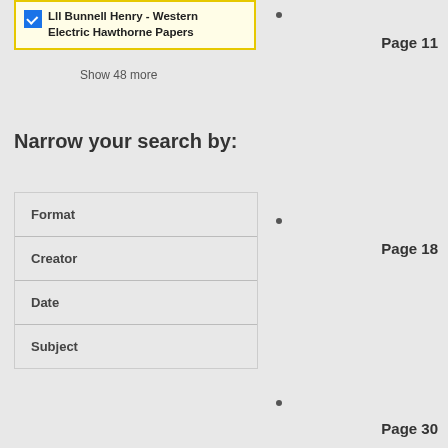Lll Bunnell Henry - Western Electric Hawthorne Papers
Show 48 more
Narrow your search by:
Format
Creator
Date
Subject
Page 11
Page 18
Page 30
Page 42
Page 3
Page 2